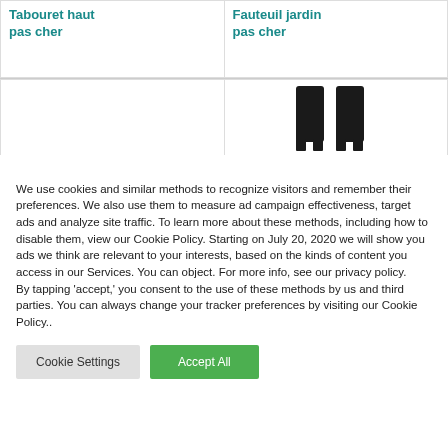Tabouret haut pas cher
Fauteuil jardin pas cher
[Figure (photo): Two tall black chairs side by side]
We use cookies and similar methods to recognize visitors and remember their preferences. We also use them to measure ad campaign effectiveness, target ads and analyze site traffic. To learn more about these methods, including how to disable them, view our Cookie Policy. Starting on July 20, 2020 we will show you ads we think are relevant to your interests, based on the kinds of content you access in our Services. You can object. For more info, see our privacy policy.
By tapping ‘accept,’ you consent to the use of these methods by us and third parties. You can always change your tracker preferences by visiting our Cookie Policy..
Cookie Settings
Accept All